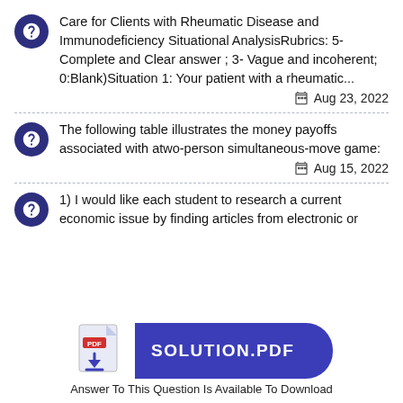Care for Clients with Rheumatic Disease and Immunodeficiency Situational AnalysisRubrics: 5-Complete and Clear answer ; 3- Vague and incoherent; 0:Blank)Situation 1: Your patient with a rheumatic... Aug 23, 2022
The following table illustrates the money payoffs associated with atwo-person simultaneous-move game: Aug 15, 2022
1) I would like each student to research a current economic issue by finding articles from electronic or
[Figure (illustration): PDF download button with SOLUTION.PDF label and a decorative PDF icon]
Answer To This Question Is Available To Download